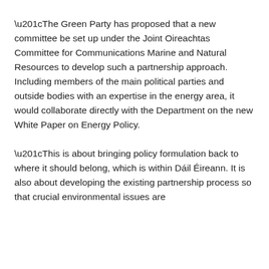“The Green Party has proposed that a new committee be set up under the Joint Oireachtas Committee for Communications Marine and Natural Resources to develop such a partnership approach. Including members of the main political parties and outside bodies with an expertise in the energy area, it would collaborate directly with the Department on the new White Paper on Energy Policy.
“This is about bringing policy formulation back to where it should belong, which is within Dáil Éireann. It is also about developing the existing partnership process so that crucial environmental issues are